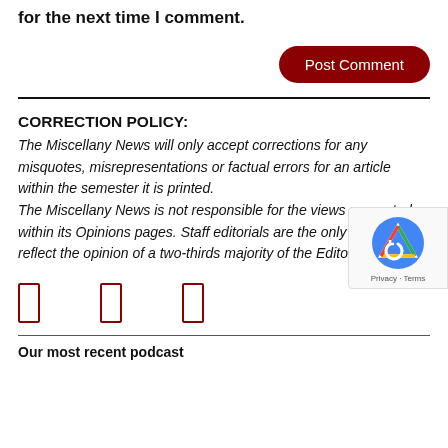for the next time I comment.
Post Comment
CORRECTION POLICY:
The Miscellany News will only accept corrections for any misquotes, misrepresentations or factual errors for an article within the semester it is printed.
The Miscellany News is not responsible for the views presented within its Opinions pages. Staff editorials are the only articles that reflect the opinion of a two-thirds majority of the Editorial Board.
[Figure (other): Three small red-bordered rectangle icons in a row, representing social media or share icons]
Our most recent podcast